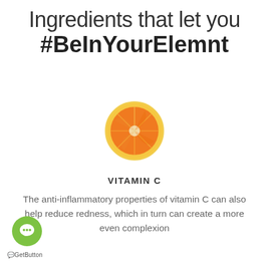Ingredients that let you #BeInYourElemnt
[Figure (illustration): A halved orange slice shown from above, with yellow rind and orange flesh with visible segments and a white center.]
VITAMIN C
The anti-inflammatory properties of vitamin C can also help reduce redness, which in turn can create a more even complexion
[Figure (logo): GetButton chat widget — a green circle with a white speech bubble / chat icon, and the text 'GetButton' beneath it.]